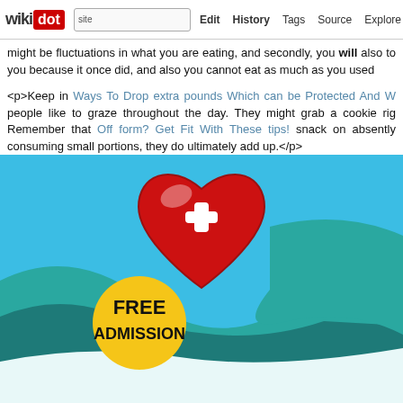wikidot | site | Edit | History | Tags | Source | Explore | Share on Twitter
might be fluctuations in what you are eating, and secondly, you will also to you because it once did, and also you cannot eat as much as you used
<p>Keep in Ways To Drop extra pounds Which can be Protected And W people like to graze throughout the day. They might grab a cookie rig Remember that Off form? Get Fit With These tips! snack on absently consuming small portions, they do ultimately add up.</p>
[Figure (illustration): Health illustration with a red heart with white plus sign on a blue/teal wavy background, and a gold badge reading FREE ADMISSION in the lower left]